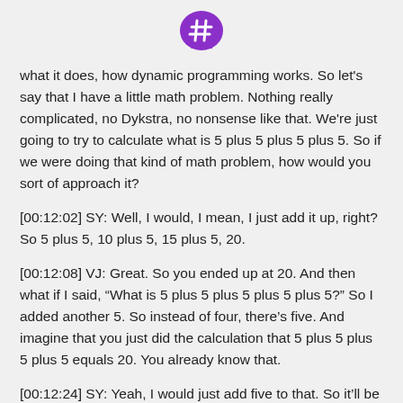[Figure (logo): Purple speech bubble with a hashtag symbol inside]
what it does, how dynamic programming works. So let's say that I have a little math problem. Nothing really complicated, no Dykstra, no nonsense like that. We're just going to try to calculate what is 5 plus 5 plus 5 plus 5. So if we were doing that kind of math problem, how would you sort of approach it?
[00:12:02] SY: Well, I would, I mean, I just add it up, right? So 5 plus 5, 10 plus 5, 15 plus 5, 20.
[00:12:08] VJ: Great. So you ended up at 20. And then what if I said, “What is 5 plus 5 plus 5 plus 5 plus 5?” So I added another 5. So instead of four, there’s five. And imagine that you just did the calculation that 5 plus 5 plus 5 plus 5 equals 20. You already know that.
[00:12:24] SY: Yeah, I would just add five to that. So it’ll be 25.
[00:12:26] VJ: Exactly. So what you just did is you didn’t